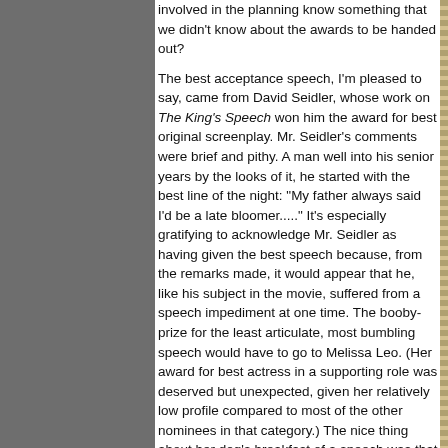involved in the planning know something that we didn't know about the awards to be handed out?
The best acceptance speech, I'm pleased to say, came from David Seidler, whose work on The King's Speech won him the award for best original screenplay. Mr. Seidler's comments were brief and pithy. A man well into his senior years by the looks of it, he started with the best line of the night: "My father always said I'd be a late bloomer....." It's especially gratifying to acknowledge Mr. Seidler as having given the best speech because, from the remarks made, it would appear that he, like his subject in the movie, suffered from a speech impediment at one time. The booby-prize for the least articulate, most bumbling speech would have to go to Melissa Leo. (Her award for best actress in a supporting role was deserved but unexpected, given her relatively low profile compared to most of the other nominees in that category.) The nice thing about her dog's breakfast of a speech was that you kinda got the feeling she hadn't expected to win. Colin Firth, on accepting his award for best actor in a leading role, was as calm, cool, charming and royal as you'd expect. I'm not buying his claim that he was all jittery inside.
And, since no Oscars critique would be complete